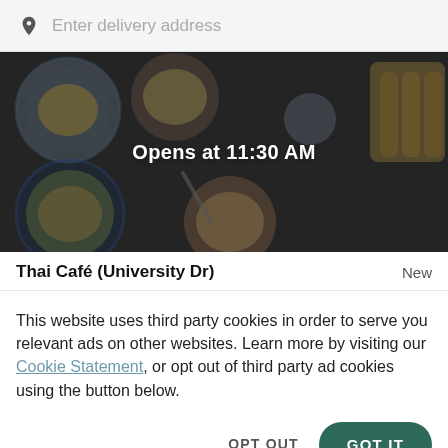Enter delivery address
[Figure (photo): Overhead view of Thai food dishes with text overlay 'Opens at 11:30 AM']
Thai Café (University Dr)
New
This website uses third party cookies in order to serve you relevant ads on other websites. Learn more by visiting our Cookie Statement, or opt out of third party ad cookies using the button below.
OPT OUT
GOT IT